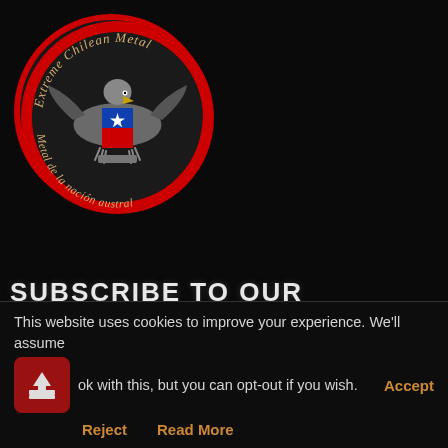[Figure (logo): Extreme Chilean Metal circular logo with eagle and Chilean flag shield, red border circle, text 'Extreme Chilean Metal' at top and 'Metal de la nación austral' at bottom]
SUBSCRIBE TO OUR NEWSLETTER
SUBSCRIBE!
Email *
This website uses cookies to improve your experience. We'll assume ok with this, but you can opt-out if you wish.
Accept
Reject
Read More